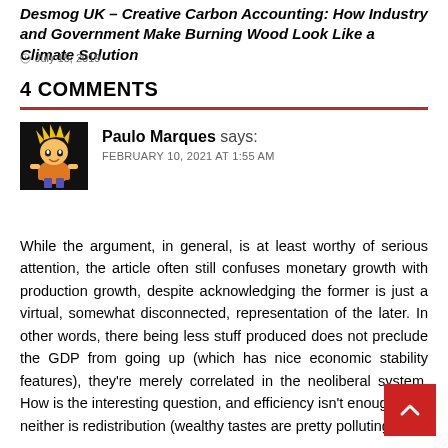Desmog UK – Creative Carbon Accounting: How Industry and Government Make Burning Wood Look Like a Climate Solution
July 15, 2019
4 COMMENTS
Paulo Marques says:
FEBRUARY 10, 2021 AT 1:55 AM
While the argument, in general, is at least worthy of serious attention, the article often still confuses monetary growth with production growth, despite acknowledging the former is just a virtual, somewhat disconnected, representation of the later. In other words, there being less stuff produced does not preclude the GDP from going up (which has nice economic stability features), they're merely correlated in the neoliberal system. How is the interesting question, and efficiency isn't enough, and neither is redistribution (wealthy tastes are pretty polluting).